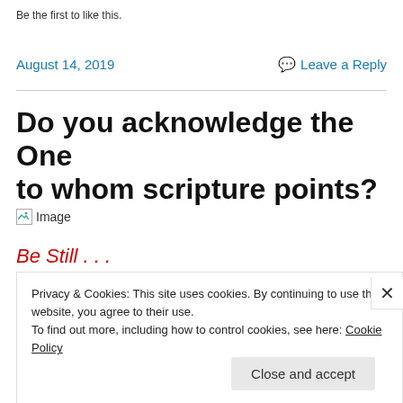Be the first to like this.
August 14, 2019
Leave a Reply
Do you acknowledge the One to whom scripture points?
[Figure (illustration): Broken image placeholder with small icon and alt text 'Image']
Be Still . . .
Privacy & Cookies: This site uses cookies. By continuing to use this website, you agree to their use. To find out more, including how to control cookies, see here: Cookie Policy
Close and accept